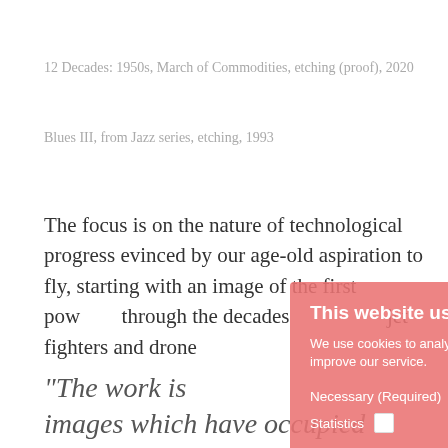12 Decades: 1950s, March of Commodities, etching (proof), 2020
Blues III, from Jazz series, etching, 1993
The focus is on the nature of technological progress evinced by our age-old aspiration to fly, starting with an image of the first pow through the decades jet fighters and drone
"The work is images which have occupied
[Figure (other): Cookie consent overlay with salmon/pink background. Title: 'This website uses cookies'. Body: 'We use cookies to analyze our traffic and improve our service.' Options: Necessary (Required) checked, Statistics unchecked. Buttons: DETAILS, Save, ACCEPT ALL.]